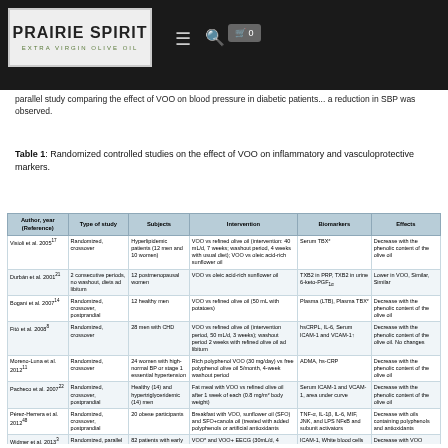Prairie Spirit Extra Virgin Olive Oil — navigation bar
parallel study comparing the effect of VOO on blood pressure in diabetic patients... a reduction in SBP was observed.
Table 1: Randomized controlled studies on the effect of VOO on inflammatory and vasculoprotective markers.
| Author, year (Reference) | Type of study | Subjects | Intervention | Biomarkers | Effects |
| --- | --- | --- | --- | --- | --- |
| Visioli et al. 2005 | Randomized, crossover | Hyperlipidemic patients (12 men and 10 women) | VOO vs refined olive oil (intervention: 40 mL/d, 7 weeks; washout period, 4 weeks with usual diet); VOO vs oleic acid-rich sunflower oil | Serum TBX² | Decrease with the phenolic content of the olive oil |
| Durbán et al. 2001 | 2 consecutive periods, no washout, diets ad libitum | 12 postmenopausal women | VOO vs oleic acid-rich sunflower oil | TXB2 in PRP, TXB2 in urine 6-keto-PGF₁α | Lower in VOO, Similar, Similar |
| Bogani et al. 2007 | Randomized, crossover, postprandial | 12 healthy men | VOO vs refined olive oil (50 mL with potatoes) | Plasma (LTB), Plasma TBX² | Decrease with the phenolic content of the olive oil |
| Fitó et al. 2008 | Randomized, crossover | 28 men with CHD | VOO vs refined olive oil (intervention period, 50 mL/d, 3 weeks); washout period 2 weeks with refined olive oil ad libitum | hsCRPL, IL-6, Serum ICAM-1 and VCAM-1↑ | Decrease with the phenolic content of the olive oil. No changes |
| Moreno-Luna et al. 2012 | Randomized, crossover | 24 women with high-normal BP or stage 1 essential hypertension | Rich polyphenol VOO (30 mg/day) vs free polyphenol olive oil 5/month, 4-week washout period | ADMA, hs-CRP | Decrease with the phenolic content of the olive oil |
| Pacheco et al. 2007 | Randomized, crossover, postprandial | Healthy (14) and hypertriglyceridemic (14) men | Fat meal with VOO vs refined olive oil after 1 week of each (0.8 mg/m² body weight) | Serum ICAM-1 and VCAM-1, area under curve | Decrease with the phenolic content of the olive oil |
| Pérez-Herrera et al. 2012 | Randomized, crossover, postprandial | 20 obese participants | Breakfast with VOO, sunflower oil (SFO) and SFO+canola oil (treated with added polyphenols or artificial antioxidants | TNF-α, IL-1β, IL-6, MIF, JNK, and LPS NFκB and subunit activators | Decrease with oils containing polyphenols and antioxidants |
| Widmer et al. 2013 | Randomized, parallel | 82 patients with early atherosclerosis | VOO* and VOO+ EECG (30mL/d, 4 months) | ICAM-1, White blood cells | Decrease with VOO |